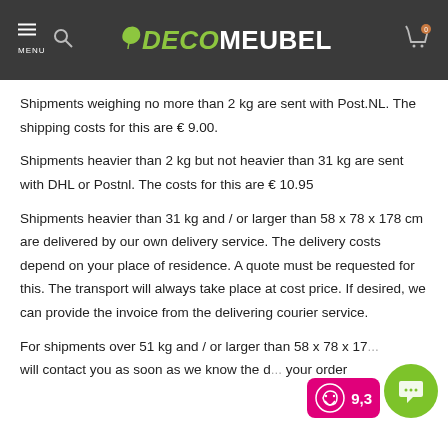MENU | DecoMeubel
Shipments weighing no more than 2 kg are sent with Post.NL. The shipping costs for this are € 9.00.
Shipments heavier than 2 kg but not heavier than 31 kg are sent with DHL or Postnl. The costs for this are € 10.95
Shipments heavier than 31 kg and / or larger than 58 x 78 x 178 cm are delivered by our own delivery service. The delivery costs depend on your place of residence. A quote must be requested for this. The transport will always take place at cost price. If desired, we can provide the invoice from the delivering courier service.
For shipments over 51 kg and / or larger than 58 x 78 x 178 ... will contact you as soon as we know the d... your order